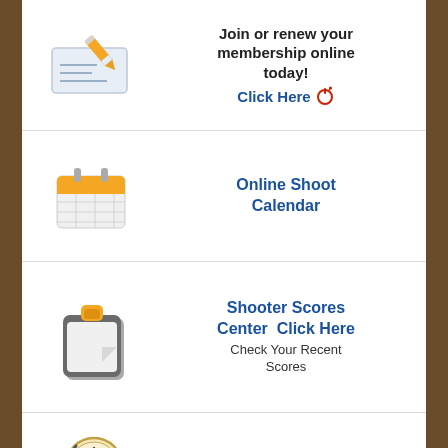[Figure (illustration): Cheque/check book with orange pen icon]
Join or renew your membership online today! Click Here
[Figure (illustration): Orange calendar icon]
Online Shoot Calendar
[Figure (illustration): Clipboard with orange clip icon]
Shooter Scores Center  Click Here
Check Your Recent Scores
[Figure (illustration): Clock with arrow icon for PITA Time Line]
PITA Time Line